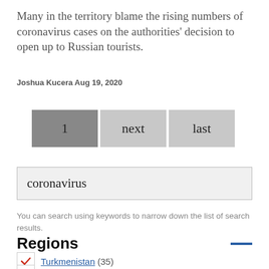Many in the territory blame the rising numbers of coronavirus cases on the authorities' decision to open up to Russian tourists.
Joshua Kucera Aug 19, 2020
[Figure (other): Pagination buttons: 1 (active), next, last]
[Figure (screenshot): Search input box containing the text 'coronavirus']
You can search using keywords to narrow down the list of search results.
Regions
Turkmenistan (35)
Abkhazia (4)